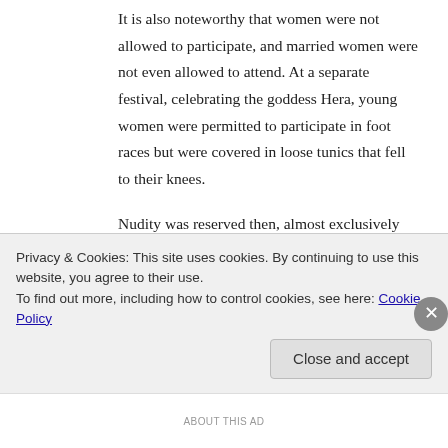It is also noteworthy that women were not allowed to participate, and married women were not even allowed to attend. At a separate festival, celebrating the goddess Hera, young women were permitted to participate in foot races but were covered in loose tunics that fell to their knees.
Nudity was reserved then, almost exclusively for men, as evidenced by a number of surviving sculptures. And the prevailing attitude towards that nudity was one of respect for the health, strength and spiritual achievements of those depicted.
What seems indisputable is that during that particular
Privacy & Cookies: This site uses cookies. By continuing to use this website, you agree to their use.
To find out more, including how to control cookies, see here: Cookie Policy
Close and accept
ABOUT THIS AD